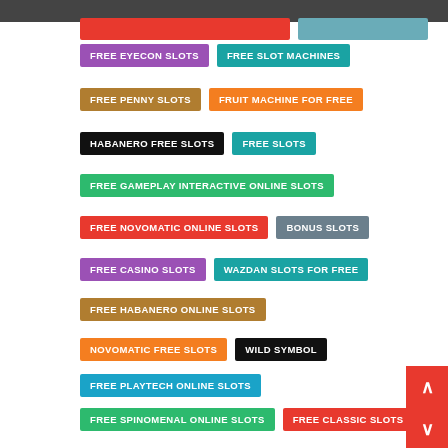FREE EYECON SLOTS
FREE SLOT MACHINES
FREE PENNY SLOTS
FRUIT MACHINE FOR FREE
HABANERO FREE SLOTS
FREE SLOTS
FREE GAMEPLAY INTERACTIVE ONLINE SLOTS
FREE NOVOMATIC ONLINE SLOTS
BONUS SLOTS
FREE CASINO SLOTS
WAZDAN SLOTS FOR FREE
FREE HABANERO ONLINE SLOTS
NOVOMATIC FREE SLOTS
WILD SYMBOL
FREE PLAYTECH ONLINE SLOTS
FREE SPINOMENAL ONLINE SLOTS
FREE CLASSIC SLOTS
FREE EYECON ONLINE SLOTS
SLOT MACHINES FOR FREE
SLOTS FOR FUN
FREE FRUIT MACHINES